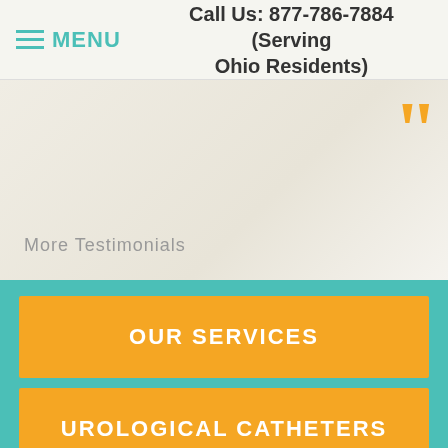≡ MENU   Call Us: 877-786-7884 (Serving Ohio Residents)
More Testimonials
OUR SERVICES
UROLOGICAL CATHETERS
TESTIMONIALS